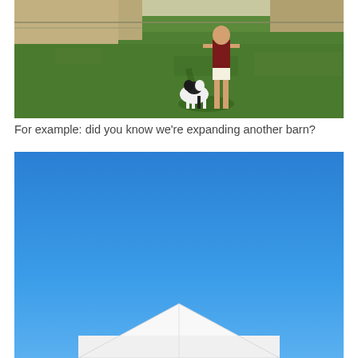[Figure (photo): A person standing on green grass outdoors with a black and white dog, photographed in warm evening light. A dirt path and fence are visible in the background.]
For example: did you know we're expanding another barn?
[Figure (photo): Photo of a white barn building against a clear bright blue sky, taken from a low angle looking upward. Only the roofline and upper portion of the barn are visible.]